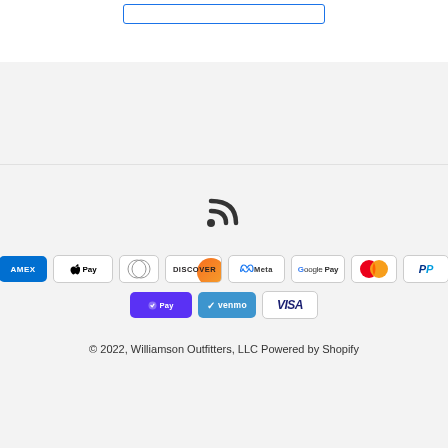[Figure (other): Search input box with blue border at top of page]
[Figure (other): RSS feed icon (wifi/signal symbol) centered in footer area]
[Figure (other): Payment method icons row 1: American Express, Apple Pay, Diners Club, Discover, Meta Pay, Google Pay, Mastercard, PayPal]
[Figure (other): Payment method icons row 2: Shop Pay, Venmo, Visa]
© 2022, Williamson Outfitters, LLC Powered by Shopify